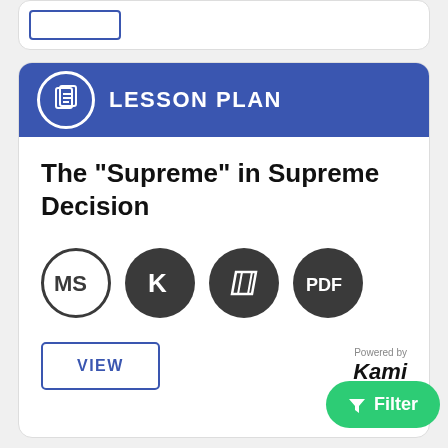[Figure (screenshot): Top partial card with a blue-outlined rectangle button visible at top left]
LESSON PLAN
The "Supreme" in Supreme Decision
[Figure (infographic): Four circular icons: MS (outline circle), K (dark filled), parallelogram logo (dark filled), PDF (dark filled)]
VIEW
Powered by Kami
Filter